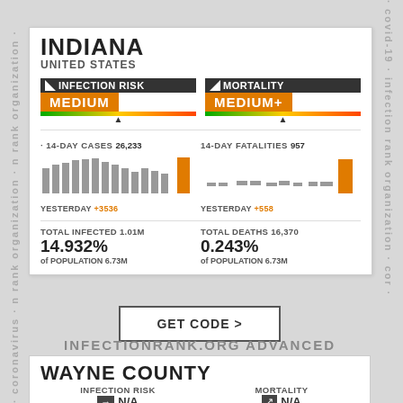INDIANA
UNITED STATES
[Figure (infographic): Infection Risk gauge showing MEDIUM level with orange badge and gradient scale bar]
[Figure (infographic): Mortality gauge showing MEDIUM+ level with orange badge and gradient scale bar]
14-DAY CASES 26,233
14-DAY FATALITIES 957
[Figure (bar-chart): 14-day cases bar chart]
YESTERDAY +3536
[Figure (bar-chart): 14-day fatalities bar chart]
YESTERDAY +558
TOTAL INFECTED 1.01M
14.932%
of POPULATION 6.73M
TOTAL DEATHS 16,370
0.243%
of POPULATION 6.73M
GET CODE >
INFECTIONRANK.ORG ADVANCED
WAYNE COUNTY
INFECTION RISK
N/A
MORTALITY
N/A
TOTAL INFECTED 10,812
14-DAY REPRODUCTION RATE
TOTAL DEATHS 247
POPULATION 66K
1  ► 0.7
MORTALITY 1 every 266.7